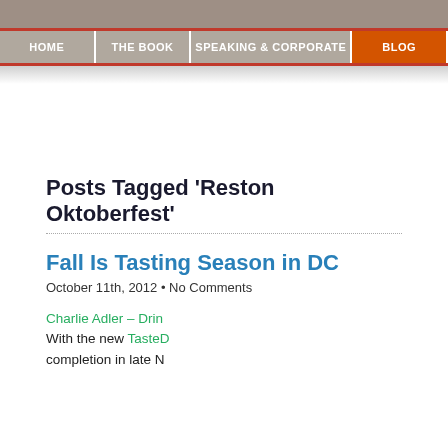HOME | THE BOOK | SPEAKING & CORPORATE | BLOG
Posts Tagged 'Reston Oktoberfest'
Fall Is Tasting Season in DC
October 11th, 2012 • No Comments
Charlie Adler – Drin... With the new TasteD... completion in late N...